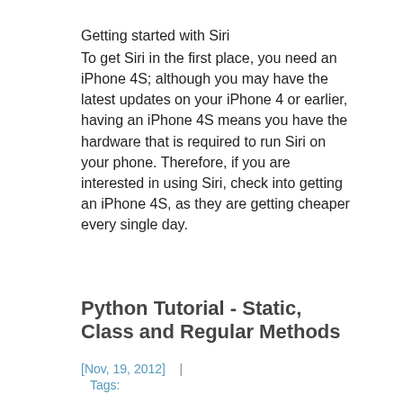Getting started with Siri
To get Siri in the first place, you need an iPhone 4S; although you may have the latest updates on your iPhone 4 or earlier, having an iPhone 4S means you have the hardware that is required to run Siri on your phone. Therefore, if you are interested in using Siri, check into getting an iPhone 4S, as they are getting cheaper every single day.
Python Tutorial - Static, Class and Regular Methods
[Nov, 19, 2012]   |
Tags: